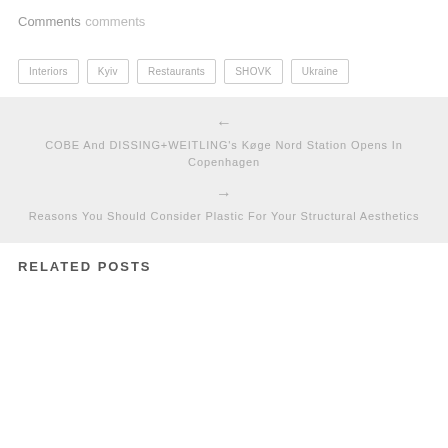Comments
comments
Interiors
Kyiv
Restaurants
SHOVK
Ukraine
← COBE And DISSING+WEITLING's Køge Nord Station Opens In Copenhagen
→ Reasons You Should Consider Plastic For Your Structural Aesthetics
RELATED POSTS